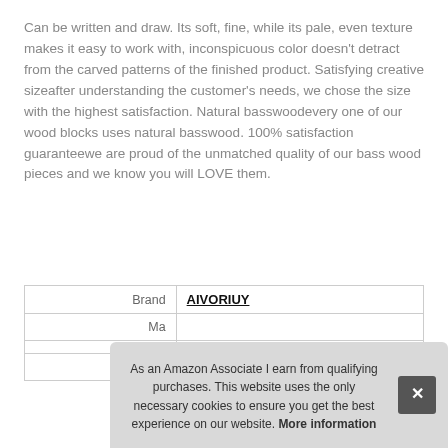Can be written and draw. Its soft, fine, while its pale, even texture makes it easy to work with, inconspicuous color doesn't detract from the carved patterns of the finished product. Satisfying creative sizeafter understanding the customer's needs, we chose the size with the highest satisfaction. Natural basswoodevery one of our wood blocks uses natural basswood. 100% satisfaction guaranteewe are proud of the unmatched quality of our bass wood pieces and we know you will LOVE them.
|  |  |
| --- | --- |
| Brand | AIVORIUY |
| Ma |  |
|  |  |
| P |  |
As an Amazon Associate I earn from qualifying purchases. This website uses the only necessary cookies to ensure you get the best experience on our website. More information